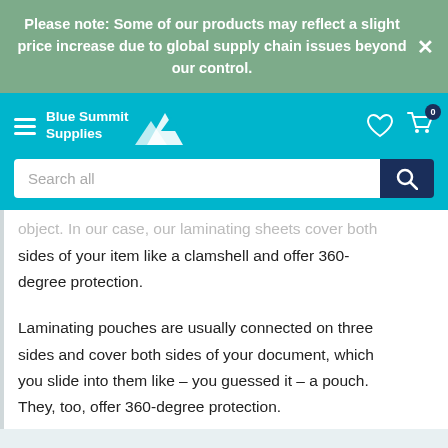Please note: Some of our products may reflect a slight price increase due to global supply chain issues beyond our control.
[Figure (screenshot): Blue Summit Supplies navigation bar with hamburger menu, logo with mountain icon, heart icon, and cart icon with badge showing 0]
Search all
sides of your item like a clamshell and offer 360-degree protection.
Laminating pouches are usually connected on three sides and cover both sides of your document, which you slide into them like – you guessed it – a pouch. They, too, offer 360-degree protection.